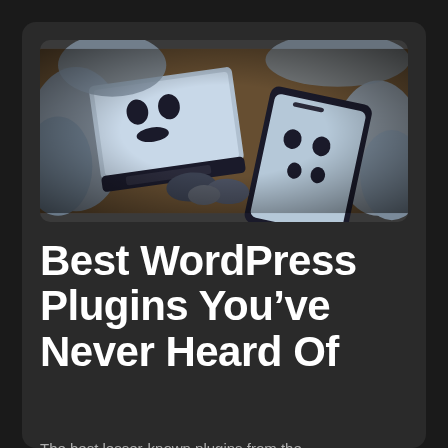[Figure (illustration): Dark illustrated artwork showing cartoon-like devices (laptop, phones, mice) with face-like holes for eyes and mouths, rendered in a gritty comic book style with blues, grays, and brown tones.]
Best WordPress Plugins You've Never Heard Of
The best lesser-known plugins from the